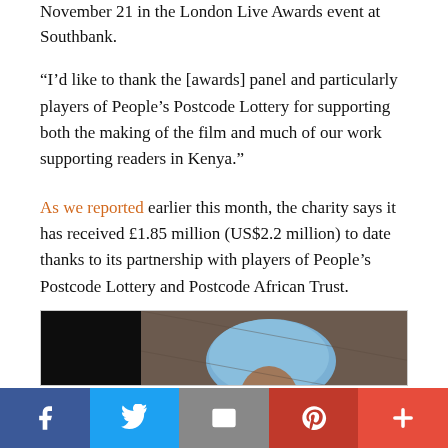November 21 in the London Live Awards event at Southbank.
“I’d like to thank the [awards] panel and particularly players of People’s Postcode Lottery for supporting both the making of the film and much of our work supporting readers in Kenya.”
As we reported earlier this month, the charity says it has received £1.85 million (US$2.2 million) to date thanks to its partnership with players of People’s Postcode Lottery and Postcode African Trust.
[Figure (photo): A photo of a person with a blue head covering against a stone/rocky background]
Facebook | Twitter | Email | Pinterest | More